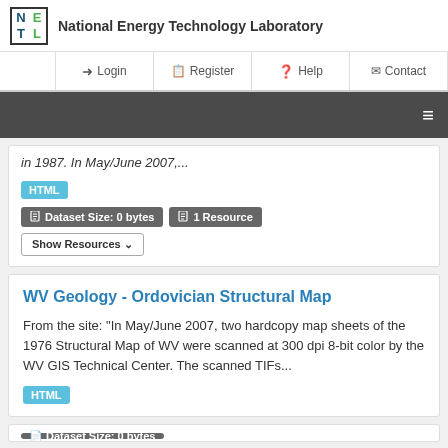National Energy Technology Laboratory
Login  Register  Help  Contact
in 1987. In May/June 2007,...
HTML
Dataset Size: 0 bytes  1 Resource  Show Resources
WV Geology - Ordovician Structural Map
From the site: "In May/June 2007, two hardcopy map sheets of the 1976 Structural Map of WV were scanned at 300 dpi 8-bit color by the WV GIS Technical Center. The scanned TIFs...
HTML